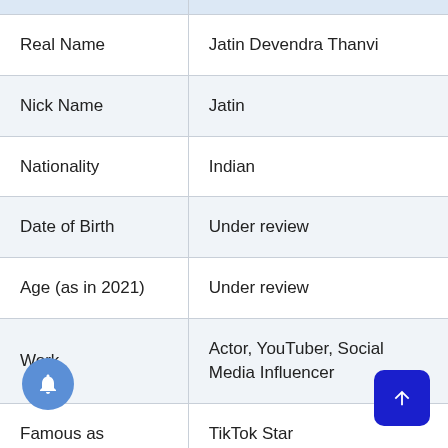|  |  |
| --- | --- |
| Real Name | Jatin Devendra Thanvi |
| Nick Name | Jatin |
| Nationality | Indian |
| Date of Birth | Under review |
| Age (as in 2021) | Under review |
| Work | Actor, YouTuber, Social Media Influencer |
| Famous as | TikTok Star |
| Birth Place | Jodhpur, India |
| Home town | Jodhpur, India |